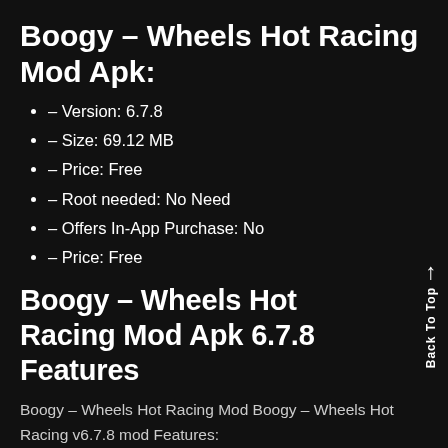Boogy - Wheels Hot Racing Mod Apk:
– Version: 6.7.8
– Size: 69.12 MB
– Price: Free
– Root needed: No Need
– Offers In-App Purchase: No
– Price: Free
Boogy - Wheels Hot Racing Mod Apk 6.7.8 Features
Boogy – Wheels Hot Racing Mod Boogy – Wheels Hot Racing v6.7.8 mod Features:
Modify a large amount of currency, unlock all mode